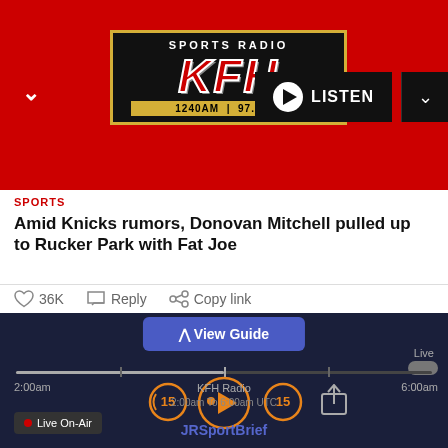[Figure (screenshot): Sports Radio KFH logo — red background with KFH in large metallic letters, 1240AM | 97.5 FM, with a LISTEN button]
SPORTS
Amid Knicks rumors, Donovan Mitchell pulled up to Rucker Park with Fat Joe
36K  Reply  Copy link
Read 312 replies
Coming from Greece as a scrawny teenager with little in the way of reputation, let alone...
[Figure (screenshot): Radio player bottom bar: View Guide button, timeline from 2:00am to 6:00am, playback controls with rewind 15, play, forward 15 buttons, KFH Radio station, Live On-Air badge, JRSportBrief watermark]